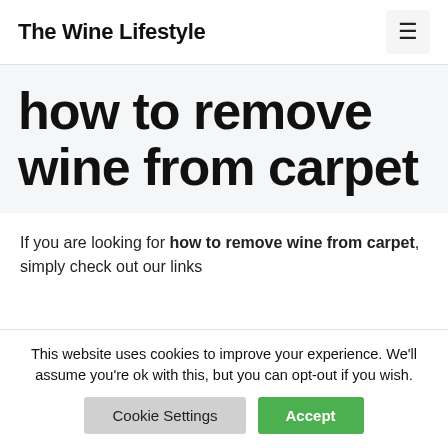The Wine Lifestyle
how to remove wine from carpet
If you are looking for how to remove wine from carpet, simply check out our links
This website uses cookies to improve your experience. We'll assume you're ok with this, but you can opt-out if you wish.